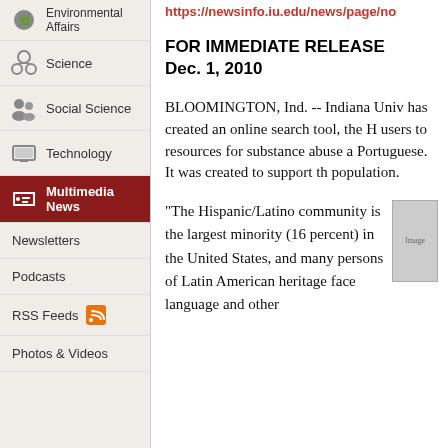Environmental Affairs
Science
Social Science
Technology
Multimedia News
Newsletters
Podcasts
RSS Feeds
Photos & Videos
https://newsinfo.iu.edu/news/page/no
FOR IMMEDIATE RELEASE
Dec. 1, 2010
BLOOMINGTON, Ind. -- Indiana Univ has created an online search tool, the H users to resources for substance abuse a Portuguese. It was created to support th population.
"The Hispanic/Latino community is the largest minority (16 percent) in the United States, and many persons of Latin American heritage face language and other